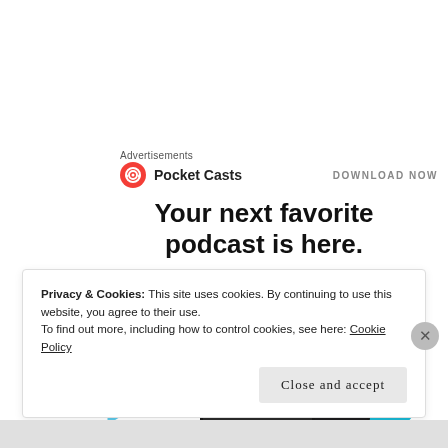Advertisements
[Figure (logo): Pocket Casts logo with red circular icon and text 'Pocket Casts', with 'DOWNLOAD NOW' link on the right]
Your next favorite podcast is here.
[Figure (screenshot): Two smartphone screens showing the Pocket Casts app interface with 'Up Next' queue and playback screen, overlaid on a blue play button triangle and a cyan rounded rectangle]
Privacy & Cookies: This site uses cookies. By continuing to use this website, you agree to their use.
To find out more, including how to control cookies, see here: Cookie Policy
Close and accept